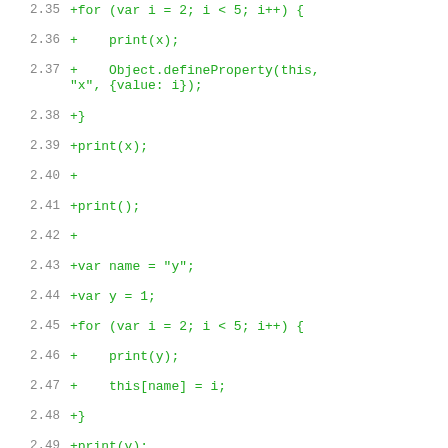2.35  +for (var i = 2; i < 5; i++) {
2.36  +    print(x);
2.37  +    Object.defineProperty(this, "x", {value: i});
2.38  +}
2.39  +print(x);
2.40  +
2.41  +print();
2.42  +
2.43  +var name = "y";
2.44  +var y = 1;
2.45  +for (var i = 2; i < 5; i++) {
2.46  +    print(y);
2.47  +    this[name] = i;
2.48  +}
2.49  +print(y);
3.1   --- /dev/null    Thu Jan 01 00:00:00 1970 +0000
3.2   +++ b/test/script/basic/JDK-8062937.js.EXPECTED     Thu Nov 13 16:59:03 2014 +0100
3.3   @@ -0,0 +1,9 @@
3.4   +1
3.5   +2
3.6   +3
3.7   +4
3.8   +
3.9   +1